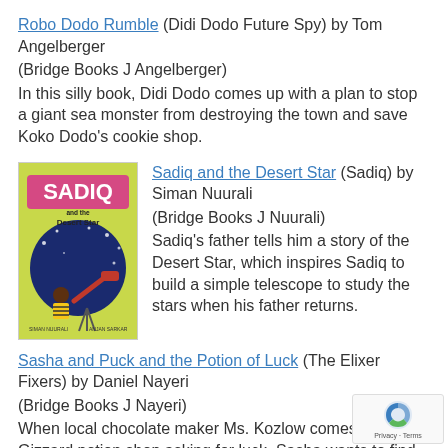Robo Dodo Rumble (Didi Dodo Future Spy) by Tom Angelberger
(Bridge Books J Angelberger)
In this silly book, Didi Dodo comes up with a plan to stop a giant sea monster from destroying the town and save Koko Dodo's cookie shop.
[Figure (illustration): Book cover of 'Sadiq and the Desert Star' showing a child with a telescope against a night sky background with yellow-green cover.]
Sadiq and the Desert Star (Sadiq) by Siman Nuurali
(Bridge Books J Nuurali)
Sadiq's father tells him a story of the Desert Star, which inspires Sadiq to build a simple telescope to study the stars when his father returns.
Sasha and Puck and the Potion of Luck (The Elixer Fixers) by Daniel Nayeri
(Bridge Books J Nayeri)
When local chocolate maker Ms. Kozlow comes to the Gizzard potion shop asking for luck, Sasha wants to find out